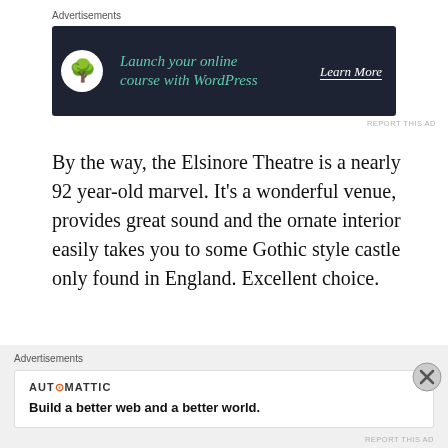Advertisements
[Figure (screenshot): Advertisement banner with dark navy background showing a bonsai tree icon, text 'Launch your online course with WordPress' in teal italic, and a 'Learn More' call-to-action button in white.]
REPORT THIS AD
By the way, the Elsinore Theatre is a nearly 92 year-old marvel. It’s a wonderful venue, provides great sound and the ornate interior easily takes you to some Gothic style castle only found in England. Excellent choice.
Share this:
[Figure (screenshot): Bottom advertisement overlay with light gray background. Shows 'Advertisements' label, a white box containing AUTOMATTIC logo and tagline 'Build a better web and a better world.' with a close/dismiss button on the right.]